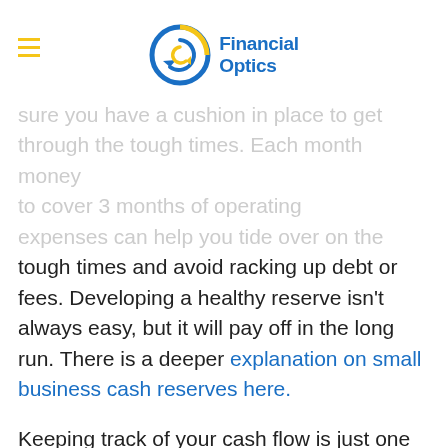Financial Optics
sure you have a cushion in place to get through the tough times. Each month money to cover 3 months of operating expenses can help you tide over on the tough times and avoid racking up debt or fees. Developing a healthy reserve isn't always easy, but it will pay off in the long run. There is a deeper explanation on small business cash reserves here.
Keeping track of your cash flow is just one of many important bookkeeping tasks you need to stay on top of as a business owner. Sometimes, this task can be a bit too much to handle alone.
Consider outsourced bookkeeping as an affordable, simple solution that can reduce your